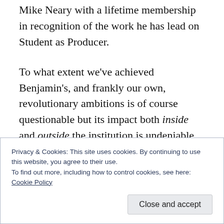Mike Neary with a lifetime membership in recognition of the work he has lead on Student as Producer.
To what extent we've achieved Benjamin's, and frankly our own, revolutionary ambitions is of course questionable but its impact both inside and outside the institution is undeniable. Yet we must recognise that over time, the subversive, radical language of avant-garde Marxists such as Benjamin has itself been
Privacy & Cookies: This site uses cookies. By continuing to use this website, you agree to their use.
To find out more, including how to control cookies, see here:
Cookie Policy